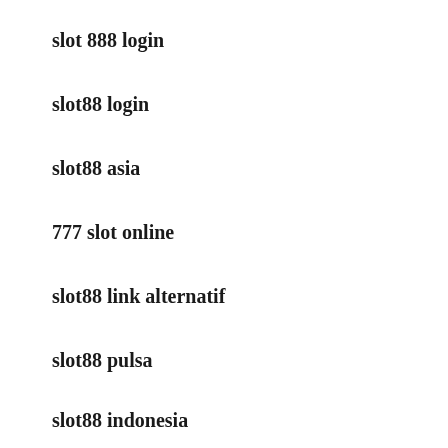slot 888 login
slot88 login
slot88 asia
777 slot online
slot88 link alternatif
slot88 pulsa
slot88 indonesia